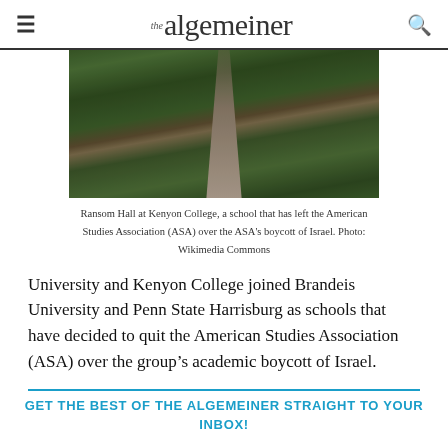the algemeiner
[Figure (photo): Pathway through Ransom Hall at Kenyon College, showing a stone walkway flanked by grass and trees with dappled shadows]
Ransom Hall at Kenyon College, a school that has left the American Studies Association (ASA) over the ASA's boycott of Israel. Photo: Wikimedia Commons
University and Kenyon College joined Brandeis University and Penn State Harrisburg as schools that have decided to quit the American Studies Association (ASA) over the group's academic boycott of Israel.
GET THE BEST OF THE ALGEMEINER STRAIGHT TO YOUR INBOX!